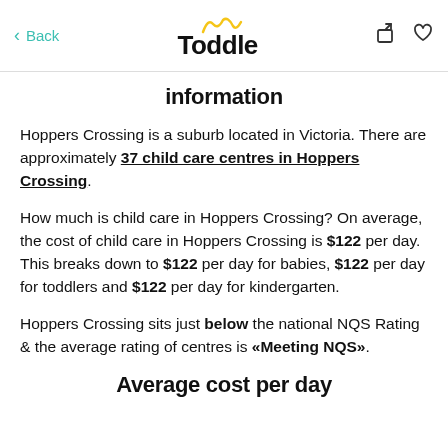Back | Toddle
information
Hoppers Crossing is a suburb located in Victoria. There are approximately 37 child care centres in Hoppers Crossing.
How much is child care in Hoppers Crossing? On average, the cost of child care in Hoppers Crossing is $122 per day. This breaks down to $122 per day for babies, $122 per day for toddlers and $122 per day for kindergarten.
Hoppers Crossing sits just below the national NQS Rating & the average rating of centres is «Meeting NQS».
Average cost per day